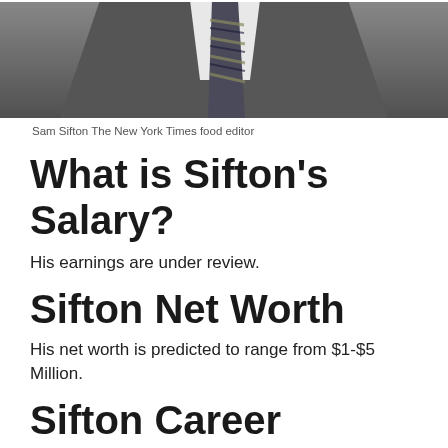[Figure (photo): Photo of Sam Sifton in a dark suit and striped tie, The New York Times food editor, cropped to show upper torso and partial face]
Sam Sifton The New York Times food editor
What is Sifton's Salary?
His earnings are under review.
Sifton Net Worth
His net worth is predicted to range from $1-$5 Million.
Sifton Career